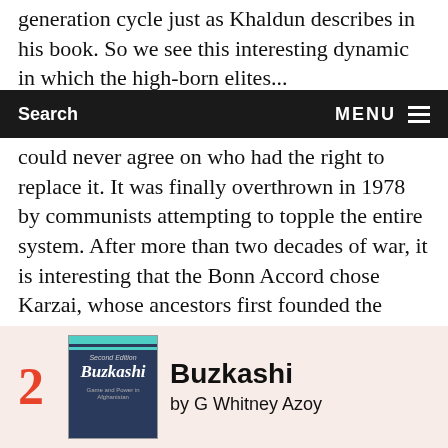generation cycle just as Khaldun describes in his book. So we see this interesting dynamic in which the high-born elites...
Search   MENU
could never agree on who had the right to replace it. It was finally overthrown in 1978 by communists attempting to topple the entire system. After more than two decades of war, it is interesting that the Bonn Accord chose Karzai, whose ancestors first founded the Afghan state. The interesting thing is that Karzai comes out of that descent group. In other words, while thinking we were creating a new democracy we were in fact helping to restore the same sort of ruling dynastic élite that had previously governed Afghanistan.
2
[Figure (photo): Book cover of 'Buzkashi: Game and Power in Afghanistan, Second Edition' by G Whitney Azoy, with teal stripe and dark blue background]
Buzkashi
by G Whitney Azoy